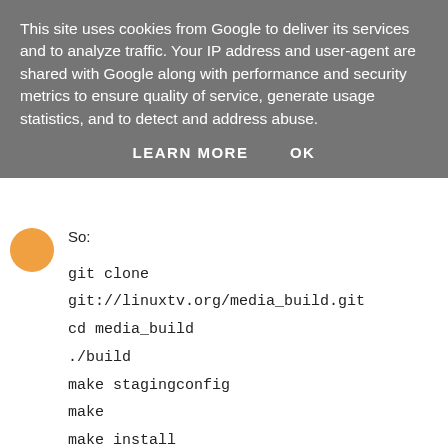This site uses cookies from Google to deliver its services and to analyze traffic. Your IP address and user-agent are shared with Google along with performance and security metrics to ensure quality of service, generate usage statistics, and to detect and address abuse.
LEARN MORE   OK
So:
git clone git://linuxtv.org/media_build.git
cd media_build
./build
make stagingconfig
make
make install
Would be the way to go to get this Stick up and running?
Unknown  5 January 2015 at 16:49